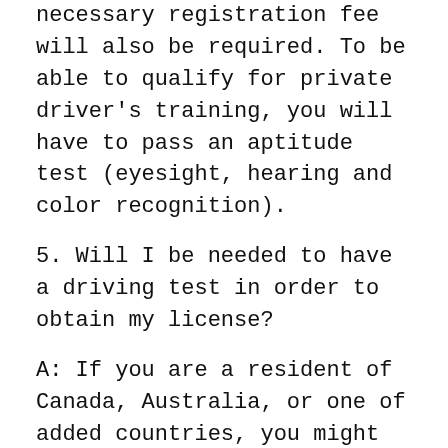necessary registration fee will also be required. To be able to qualify for private driver's training, you will have to pass an aptitude test (eyesight, hearing and color recognition).
5. Will I be needed to have a driving test in order to obtain my license?
A: If you are a resident of Canada, Australia, or one of added countries, you might be able to skip the driving part of the exam completely. However, Americans WILL be needed to take the driving part of the exam, at the very least as of the time of this writing.